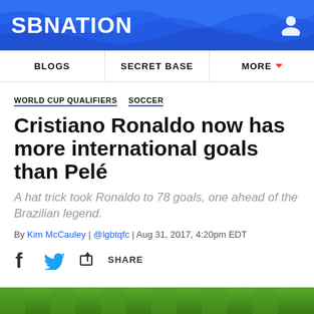SB NATION
BLOGS | SECRET BASE | MORE
WORLD CUP QUALIFIERS  SOCCER
Cristiano Ronaldo now has more international goals than Pelé
A hat trick took Ronaldo to 78 goals, one ahead of the Brazilian legend.
By Kim McCauley | @lgbtqfc | Aug 31, 2017, 4:20pm EDT
SHARE